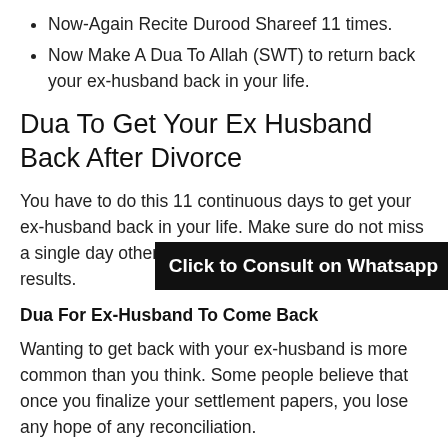Now-Again Recite Durood Shareef 11 times.
Now Make A Dua To Allah (SWT) to return back your ex-husband back in your life.
Dua To Get Your Ex Husband Back After Divorce
You have to do this 11 continuous days to get your ex-husband back in your life. Make sure do not miss a single day otherwise you may not get the results.
[Figure (other): Black banner overlay with text 'Click to Consult on Whatsapp']
Dua For Ex-Husband To Come Back
Wanting to get back with your ex-husband is more common than you think. Some people believe that once you finalize your settlement papers, you lose any hope of any reconciliation.